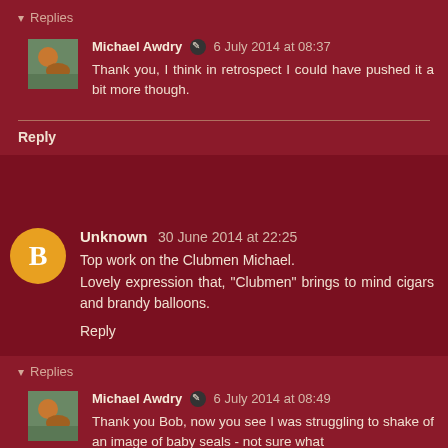Replies
Michael Awdry ✎ 6 July 2014 at 08:37
Thank you, I think in retrospect I could have pushed it a bit more though.
Reply
Unknown 30 June 2014 at 22:25
Top work on the Clubmen Michael.
Lovely expression that, "Clubmen" brings to mind cigars and brandy balloons.
Reply
Replies
Michael Awdry ✎ 6 July 2014 at 08:49
Thank you Bob, now you see I was struggling to shake of an image of baby seals - not sure what